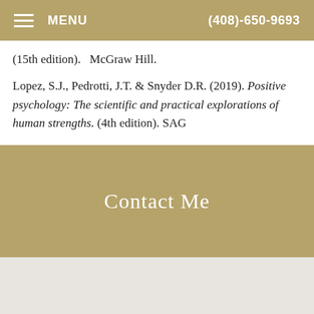MENU   (408)-650-9693
(15th edition).   McGraw Hill.
Lopez, S.J., Pedrotti, J.T. & Snyder D.R. (2019). Positive psychology: The scientific and practical explorations of human strengths. (4th edition). SAG
Contact Me